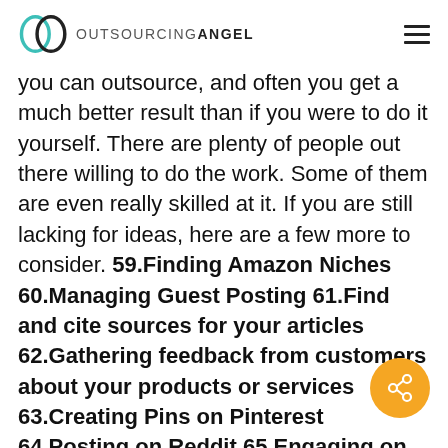OUTSOURCINGANGEL
you can outsource, and often you get a much better result than if you were to do it yourself. There are plenty of people out there willing to do the work. Some of them are even really skilled at it. If you are still lacking for ideas, here are a few more to consider. 59.Finding Amazon Niches 60.Managing Guest Posting 61.Find and cite sources for your articles 62.Gathering feedback from customers about your products or services 63.Creating Pins on Pinterest 64.Posting on Reddit 65.Engaging on Quora by upvoting